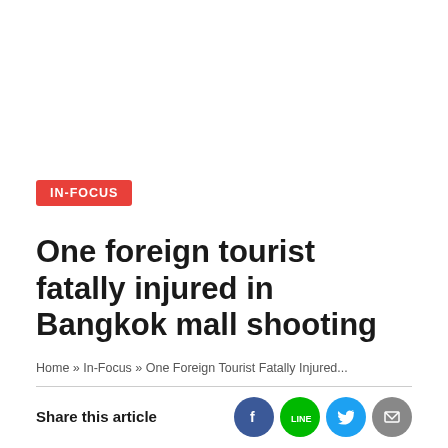IN-FOCUS
One foreign tourist fatally injured in Bangkok mall shooting
Home » In-Focus » One Foreign Tourist Fatally Injured...
Share this article
A foreign tourist was fatally injured and two